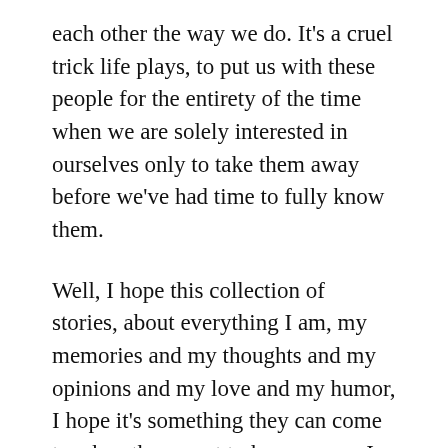each other the way we do. It's a cruel trick life plays, to put us with these people for the entirety of the time when we are solely interested in ourselves only to take them away before we've had time to fully know them.
Well, I hope this collection of stories, about everything I am, my memories and my thoughts and my opinions and my love and my humor, I hope it's something they can come to when they want to know more. I hope that it's something they can read and hear my voice when they can no longer hear it anywhere but here, and in their memories. I hope that if they ever question what they are worth they'll be able to come here and know that they are the